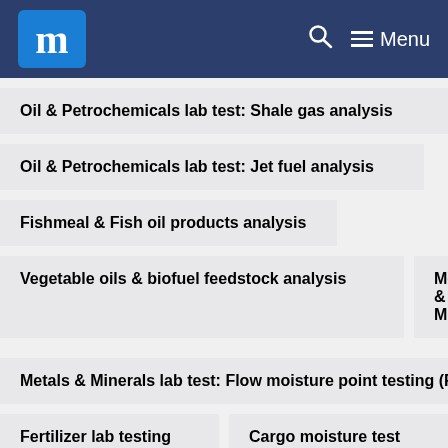m Menu
Oil & Petrochemicals lab test: Shale gas analysis
Oil & Petrochemicals lab test: Jet fuel analysis
Fishmeal & Fish oil products analysis
Vegetable oils & biofuel feedstock analysis
Metals & Mi...
Metals & Minerals lab test: Flow moisture point testing (FM...
Fertilizer lab testing
Cargo moisture test
Oil & Petrochemicals lab test: Motor fuels analysis